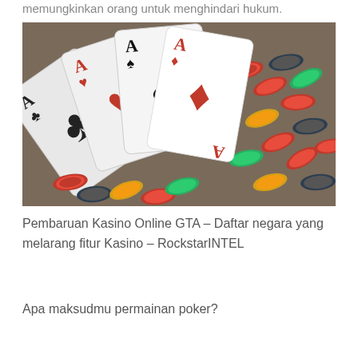memungkinkan orang untuk menghindari hukum.
[Figure (photo): Four aces playing cards fanned out against a background of colorful casino chips]
Pembaruan Kasino Online GTA – Daftar negara yang melarang fitur Kasino – RockstarINTEL
Apa maksudmu permainan poker?